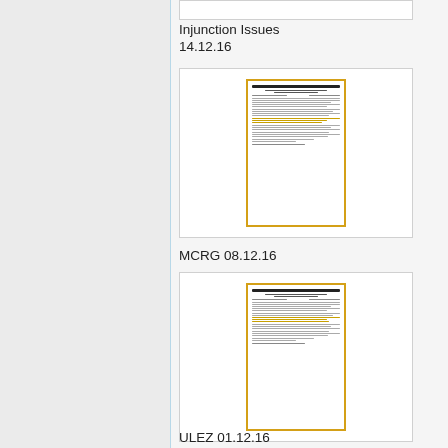[Figure (screenshot): Partial thumbnail of a document at the top of the page, cut off]
Injunction Issues
14.12.16
[Figure (screenshot): Thumbnail of a document with orange/gold border showing dense text content]
MCRG 08.12.16
[Figure (screenshot): Thumbnail of a document with orange/gold border showing dense text content]
ULEZ 01.12.16